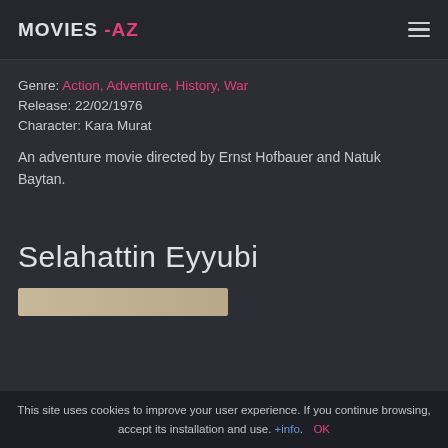MOVIES -AZ
Genre:  Action, Adventure, History, War
Release:  22/02/1976
Character:  Kara Murat
An adventure movie directed by Ernst Hofbauer and Natuk Baytan.
Selahattin Eyyubi
[Figure (photo): Partial thumbnail strip visible at bottom of page]
This site uses cookies to improve your user experience. If you continue browsing, accept its installation and use. +info. OK